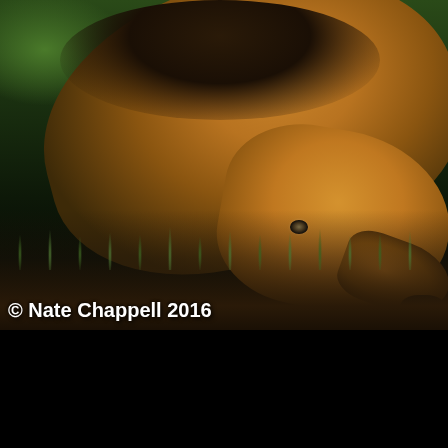[Figure (photo): Close-up photograph of a Southern Tamandua (Anteater) sniffing the ground at night, brown and black coloring, photographed in a garden setting with grass and dirt. Copyright watermark reads '© Nate Chappell 2016' in bottom-left corner.]
Southern Tamandua (Anteater) photographed August 2016, 1DX II, 300F4 lens, 1/60 F4, iso 8000, Av mode, evaluative m... Tamandua was walking through the lodge garden after dark... flash I would try to use the flashlights that people were usin... image and see how the camera fared at a very high iso. I fi... slowly) I needed at least 1/60 of a second to have it reaso...